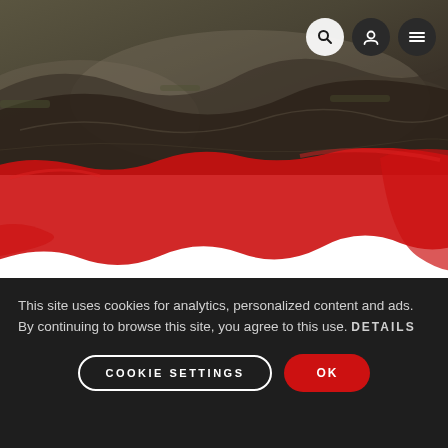[Figure (photo): Mountain trail / rocky dirt path hero image with dark moody tones, nature background]
[Figure (screenshot): YouTube video embed showing 'Cirex – One frame, two bikes | S...' with Simplon logo, play button, and text '1 FRAME - 2 BIKES'. Red brush stroke background behind the video.]
This site uses cookies for analytics, personalized content and ads. By continuing to browse this site, you agree to this use. DETAILS
COOKIE SETTINGS
OK